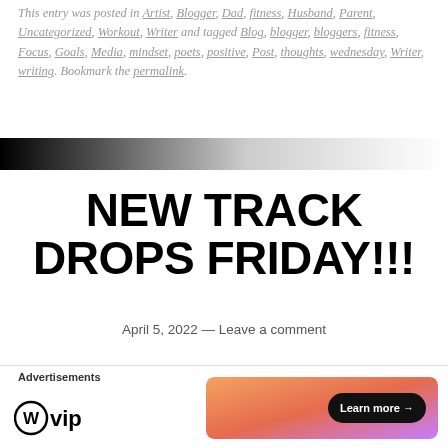This entry was posted in Artist, Blogger, Dad, fitness, Husband, Parent, Uncategorized, Workout, Writer and tagged Blog, blogger, bloggers, fitness, Focus, Goals, Media, mindset, poets, positive, Post, thoughts, wednesday, Writer, writing. Bookmark the permalink.
[Figure (other): Horizontal gradient divider bar fading from black on the left to white on the right]
NEW TRACK DROPS FRIDAY!!!
April 5, 2022 — Leave a comment
My song Underrated featuring VinNy drops
Advertisements
[Figure (logo): WordPress VIP logo with circle W icon and 'vip' text]
[Figure (infographic): Advertisement banner with orange-to-purple gradient and 'Learn more →' button]